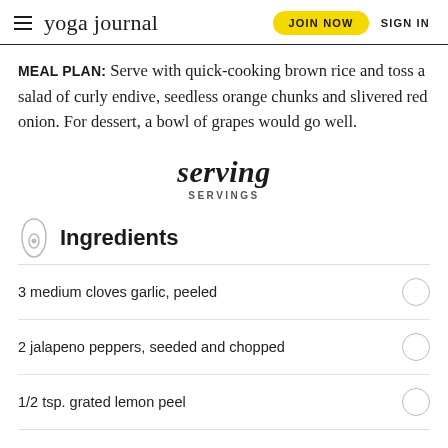yoga journal | JOIN NOW | SIGN IN
MEAL PLAN: Serve with quick-cooking brown rice and toss a salad of curly endive, seedless orange chunks and slivered red onion. For dessert, a bowl of grapes would go well.
serving
SERVINGS
Ingredients
3 medium cloves garlic, peeled
2 jalapeno peppers, seeded and chopped
1/2 tsp. grated lemon peel